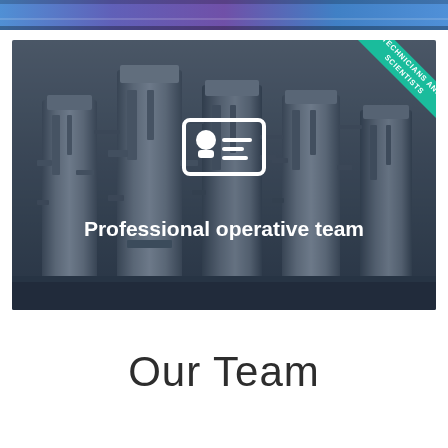[Figure (photo): Top banner strip showing industrial/laboratory equipment in blue and purple tones]
[Figure (photo): Industrial bioreactor/fermentation equipment photo used as background for card. Overlaid with semi-transparent dark layer, a white ID card icon in center, and text 'Professional operative team'. Teal ribbon banner in top-right corner reads 'TECHNICIANS AND SCIENTISTS'.]
Our Team